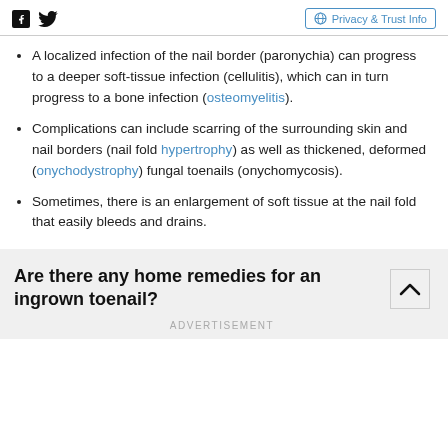Social icons (Facebook, Twitter) | Privacy & Trust Info
A localized infection of the nail border (paronychia) can progress to a deeper soft-tissue infection (cellulitis), which can in turn progress to a bone infection (osteomyelitis).
Complications can include scarring of the surrounding skin and nail borders (nail fold hypertrophy) as well as thickened, deformed (onychodystrophy) fungal toenails (onychomycosis).
Sometimes, there is an enlargement of soft tissue at the nail fold that easily bleeds and drains.
Are there any home remedies for an ingrown toenail?
ADVERTISEMENT